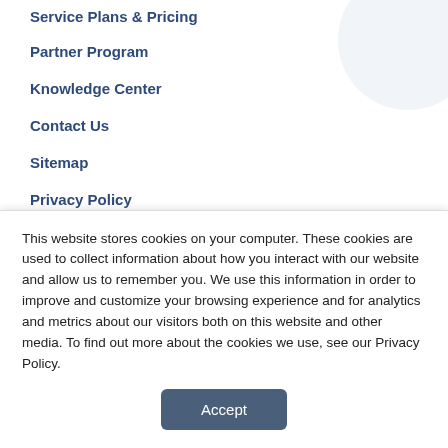Service Plans & Pricing
Partner Program
Knowledge Center
Contact Us
Sitemap
Privacy Policy
CONTACT US
HomeWork Solutions, Inc.
2 Pidgeon Hill Drive
This website stores cookies on your computer. These cookies are used to collect information about how you interact with our website and allow us to remember you. We use this information in order to improve and customize your browsing experience and for analytics and metrics about our visitors both on this website and other media. To find out more about the cookies we use, see our Privacy Policy.
Accept